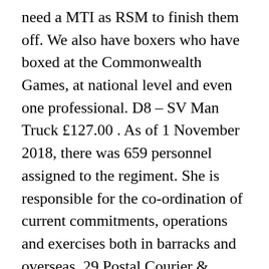need a MTI as RSM to finish them off. We also have boxers who have boxed at the Commonwealth Games, at national level and even one professional. D8 – SV Man Truck £127.00 . As of 1 November 2018, there was 659 personnel assigned to the regiment. She is responsible for the co-ordination of current commitments, operations and exercises both in barracks and overseas. 29 Postal Courier & Movement Regiment RLC: Duke of Gloucester Barracks: Duke of Gloucester Barracks: Part of 104th Logistic Support Brigade. You don't have to be an accomplished sportsperson to get involved. 39 talking about this. The regiment has been based in Munster since 1964. # BritishArmyLogistics # UKSports #Em th...